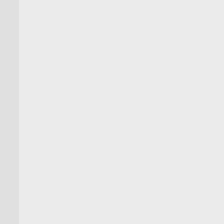URL: http://www.thefamil...
Category: Insurance directo...
COUNTRY Financi...
Author: defadmin 25-02-2013...
COUNTRY Finan...
Location: 1321 S Highw...
Phone Number: (775) 7...
E-mail: N/A
Work time: N/a (Own thi...
URL: http://www.country...
Category: Insurance directo...
Burnley, Roger-Pah...
Author: defadmin 19-02-2013...